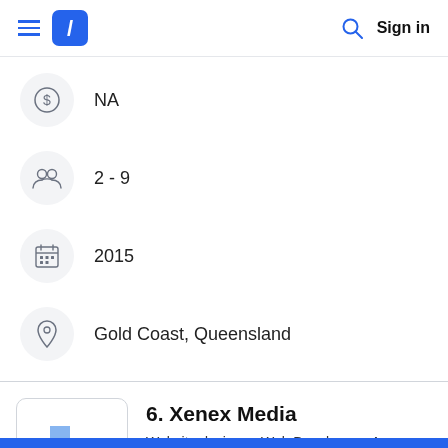Navigation bar with hamburger menu, logo, search icon, and Sign in link
NA
2 - 9
2015
Gold Coast, Queensland
6. Xenex Media
Website designer, Web Developers, App Developer
0.0 (0 Review)